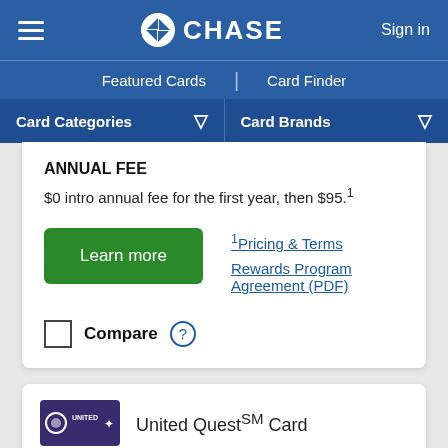CHASE — Sign in
Featured Cards | Card Finder
Card Categories  ▼  Card Brands  ▼
ANNUAL FEE
$0 intro annual fee for the first year, then $95.¹
Learn more
¹Pricing & Terms
Rewards Program Agreement (PDF)
Compare  ?
United Quest℠ Card